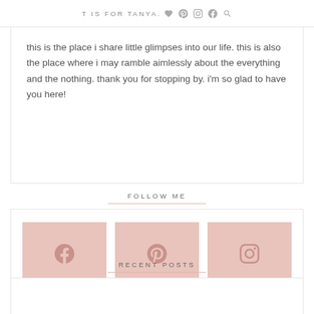T IS FOR TANYA.
this is the place i share little glimpses into our life. this is also the place where i may ramble aimlessly about the everything and the nothing. thank you for stopping by. i'm so glad to have you here!
FOLLOW ME
[Figure (infographic): Three social media buttons in dusty rose/pink color: Facebook (f icon), Pinterest (p icon), Instagram (camera icon), each labeled below with FACEBOOK, PINTEREST, INSTAGRAM in small caps.]
RECENT POSTS